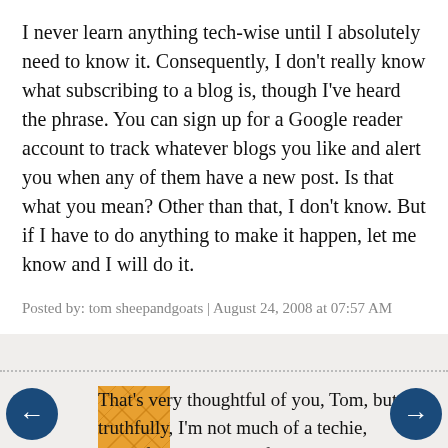I never learn anything tech-wise until I absolutely need to know it. Consequently, I don't really know what subscribing to a blog is, though I've heard the phrase. You can sign up for a Google reader account to track whatever blogs you like and alert you when any of them have a new post. Is that what you mean? Other than that, I don't know. But if I have to do anything to make it happen, let me know and I will do it.
Posted by: tom sheepandgoats | August 24, 2008 at 07:57 AM
That's very thoughtful of you, Tom, but truthfully, I'm not much of a techie, myself. I managed to find you again, and that